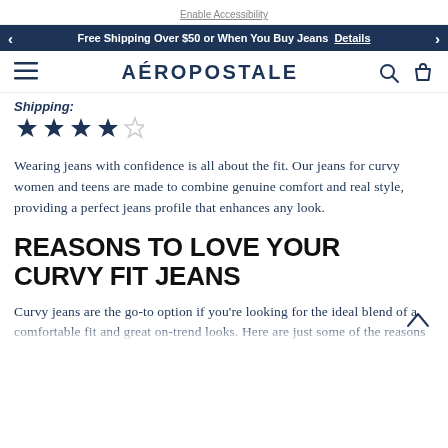Enable Accessibility
Free Shipping Over $50 or When You Buy Jeans  Details
AÉROPOSTALE
Shipping:
[Figure (other): 4 out of 5 star rating with 4 filled stars and 1 empty star]
Wearing jeans with confidence is all about the fit. Our jeans for curvy women and teens are made to combine genuine comfort and real style, providing a perfect jeans profile that enhances any look.
REASONS TO LOVE YOUR CURVY FIT JEANS
Curvy jeans are the go-to option if you're looking for the ideal blend of a comfortable fit and great on-trend looks. Here are just some of the reasons...